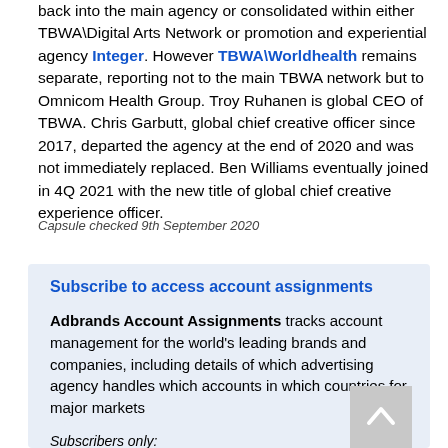back into the main agency or consolidated within either TBWA\Digital Arts Network or promotion and experiential agency Integer. However TBWA\Worldhealth remains separate, reporting not to the main TBWA network but to Omnicom Health Group. Troy Ruhanen is global CEO of TBWA. Chris Garbutt, global chief creative officer since 2017, departed the agency at the end of 2020 and was not immediately replaced. Ben Williams eventually joined in 4Q 2021 with the new title of global chief creative experience officer.
Capsule checked 9th September 2020
Subscribe to access account assignments
Adbrands Account Assignments tracks account management for the world's leading brands and companies, including details of which advertising agency handles which accounts in which countries for major markets
Subscribers only: Account assignments & selected contact information